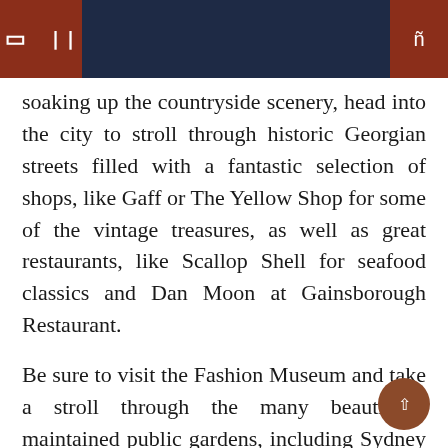[navigation header with menu icons and search]
soaking up the countryside scenery, head into the city to stroll through historic Georgian streets filled with a fantastic selection of shops, like Gaff or The Yellow Shop for some of the vintage treasures, as well as great restaurants, like Scallop Shell for seafood classics and Dan Moon at Gainsborough Restaurant.
Be sure to visit the Fashion Museum and take a stroll through the many beautifully maintained public gardens, including Sydney Gardens, one of the few 18th century pleasure gardens in the UK that Jane Austen , herself, used to visit. Not to mention the Roman Baths: although they are not open for swimming, you can taste the waters (or have a tea, if you prefer) in the Georgian pump room and bathe in the natural thermal waters of the Thermae Bath. Spa located nearby.